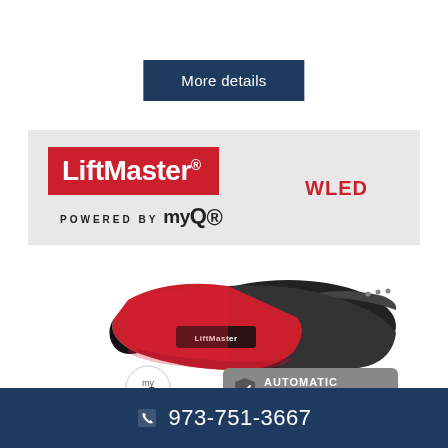More details
[Figure (logo): LiftMaster logo on red background with 'POWERED BY myQ' below, and 'WLED' text to the right on grey banner background]
[Figure (photo): LiftMaster WLED garage door opener unit in red and black, with myQ badge and Automatic Garage Door Lock badge]
973-751-3667